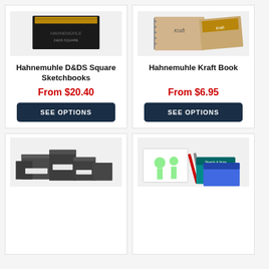[Figure (photo): Hahnemuhle D&DS Square Sketchbooks product image - black sketchbook]
Hahnemuhle D&DS Square Sketchbooks
From $20.40
SEE OPTIONS
[Figure (photo): Hahnemuhle Kraft Book product image - kraft paper notebooks]
Hahnemuhle Kraft Book
From $6.95
SEE OPTIONS
[Figure (photo): Dark gray hardcover sketchbooks product image - multiple sizes]
[Figure (photo): Sketch & Note product image - colorful notebooks with pencils]